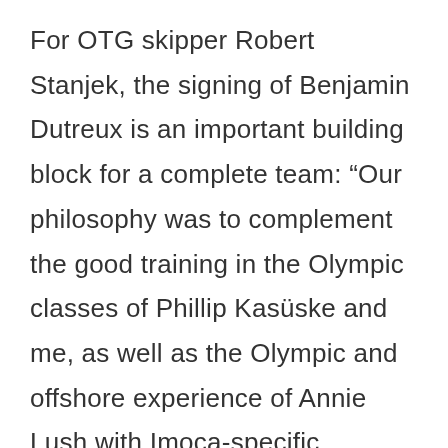For OTG skipper Robert Stanjek, the signing of Benjamin Dutreux is an important building block for a complete team: “Our philosophy was to complement the good training in the Olympic classes of Phillip Kasüske and me, as well as the Olympic and offshore experience of Annie Lush with Imoca-specific knowledge on the navigator position. I am happy that we have succeeded in doing this with Benjamin.” The emergence of Benjamin Dutreux as a new French offshore hero has also made an impression on OTG: “It also makes us a little proud that we managed to fish him away